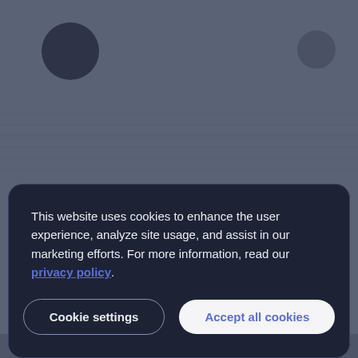[Figure (screenshot): Blurred/darkened website background with a cookie consent banner overlay. Background is a muted blue-grey. A dark circle is visible top-left, a smaller circle top-right, and faint blurred text lines in the middle area.]
This website uses cookies to enhance the user experience, analyze site usage, and assist in our marketing efforts. For more information, read our privacy policy.
Cookie settings
Accept all cookies